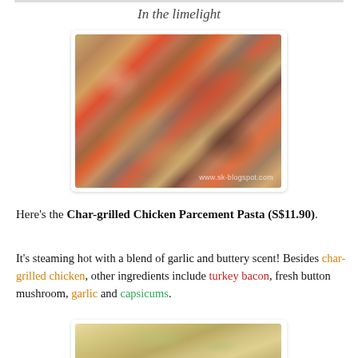In the limelight
[Figure (photo): Close-up photo of Char-grilled Chicken Parcement Pasta showing chicken, red capsicum strips, turkey bacon, mushrooms, and pasta with herbs]
Here's the Char-grilled Chicken Parcement Pasta (S$11.90).
It's steaming hot with a blend of garlic and buttery scent! Besides char-grilled chicken, other ingredients include turkey bacon, fresh button mushroom, garlic and capsicums.
[Figure (photo): Partial view of another food dish, appears to be pasta or similar]